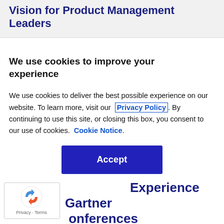Vision for Product Management Leaders
We use cookies to improve your experience
We use cookies to deliver the best possible experience on our website. To learn more, visit our Privacy Policy. By continuing to use this site, or closing this box, you consent to our use of cookies. Cookie Notice.
Accept
Experience Gartner Conferences